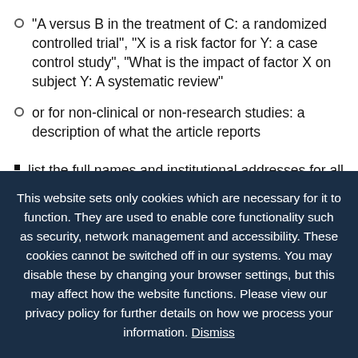"A versus B in the treatment of C: a randomized controlled trial", "X is a risk factor for Y: a case control study", "What is the impact of factor X on subject Y: A systematic review"
or for non-clinical or non-research studies: a description of what the article reports
list the full names and institutional addresses for all authors
This website sets only cookies which are necessary for it to function. They are used to enable core functionality such as security, network management and accessibility. These cookies cannot be switched off in our systems. You may disable these by changing your browser settings, but this may affect how the website functions. Please view our privacy policy for further details on how we process your information. Dismiss